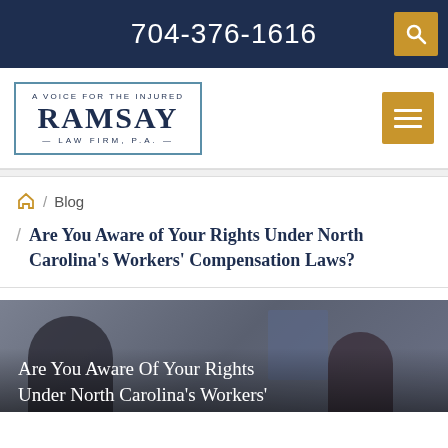704-376-1616
[Figure (logo): Ramsay Law Firm, P.A. logo — A Voice for the Injured, serif wordmark in navy blue with light blue border]
Blog
Are You Aware of Your Rights Under North Carolina's Workers' Compensation Laws?
[Figure (photo): Two people in an office/medical setting, overlaid with text: Are You Aware Of Your Rights Under North Carolina's Workers']